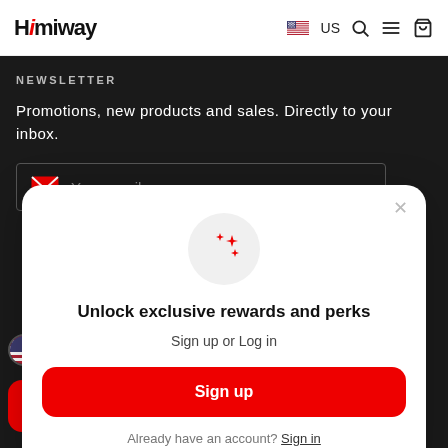Himiway   US
NEWSLETTER
Promotions, new products and sales. Directly to your inbox.
Your email
Unlock exclusive rewards and perks
Sign up or Log in
Sign up
Already have an account? Sign in